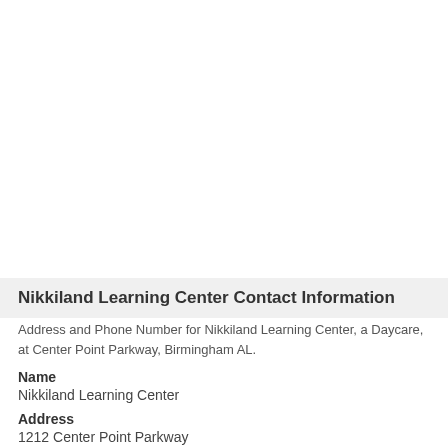Nikkiland Learning Center Contact Information
Address and Phone Number for Nikkiland Learning Center, a Daycare, at Center Point Parkway, Birmingham AL.
Name
Nikkiland Learning Center
Address
1212 Center Point Parkway
Birmingham, Alabama 35215